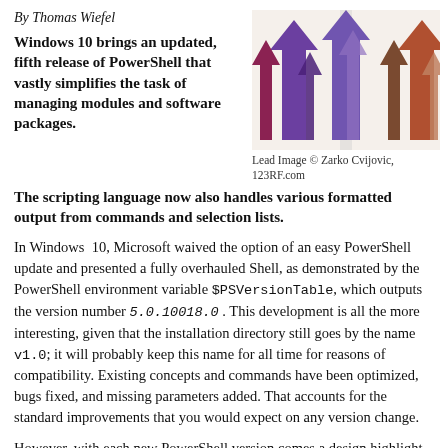By Thomas Wiefel
Windows 10 brings an updated, fifth release of PowerShell that vastly simplifies the task of managing modules and software packages. The scripting language now also handles various formatted output from commands and selection lists.
[Figure (illustration): Colorful arrow-shaped road signs pointing upward in purple, pink, maroon and brown tones, illustrating a concept of direction or updates.]
Lead Image © Zarko Cvijovic, 123RF.com
In Windows 10, Microsoft waived the option of an easy PowerShell update and presented a fully overhauled Shell, as demonstrated by the PowerShell environment variable $PSVersionTable, which outputs the version number 5.0.10018.0 . This development is all the more interesting, given that the installation directory still goes by the name v1.0; it will probably keep this name for all time for reasons of compatibility. Existing concepts and commands have been optimized, bugs fixed, and missing parameters added. That accounts for the standard improvements that you would expect on any version change.
However, with each new PowerShell version comes a design highlight. In the current PowerShell on Windows 8.1 and Server 2012 R2, this was the "Desired State Configuration" (DSC), which was designed to make other operating systems such as Unix and